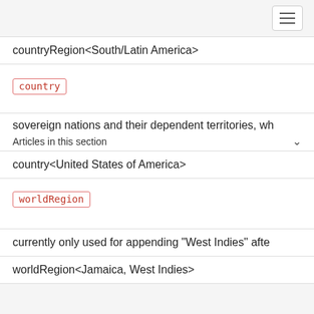[Figure (screenshot): Navigation hamburger menu button in top right corner]
countryRegion<South/Latin America>
country
sovereign nations and their dependent territories, wh
Articles in this section
country<United States of America>
worldRegion
currently only used for appending "West Indies" afte
worldRegion<Jamaica, West Indies>